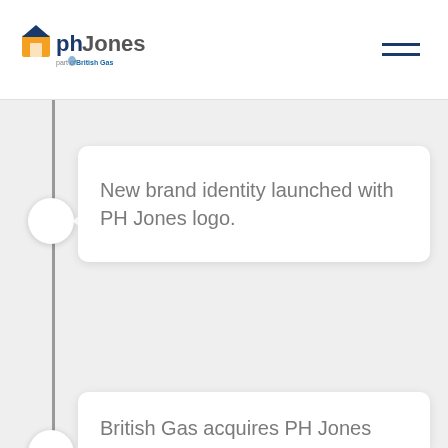[Figure (logo): PH Jones logo with 'part of British Gas' tagline — house icon in orange/blue, text 'phJones' in blue]
New brand identity launched with PH Jones logo.
British Gas acquires PH Jones social housing and facilities...